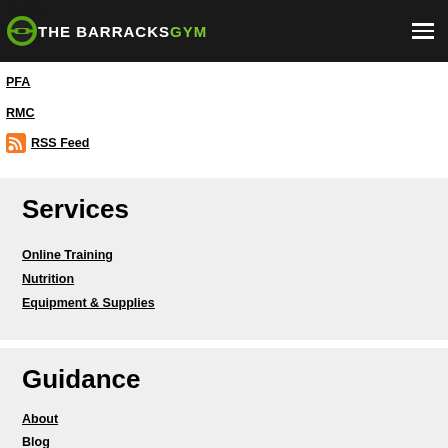THE BARRACKS GYM
Nutrition
PFA
RMC
RSS Feed
Services
Online Training
Nutrition
Equipment & Supplies
Guidance
About
Blog